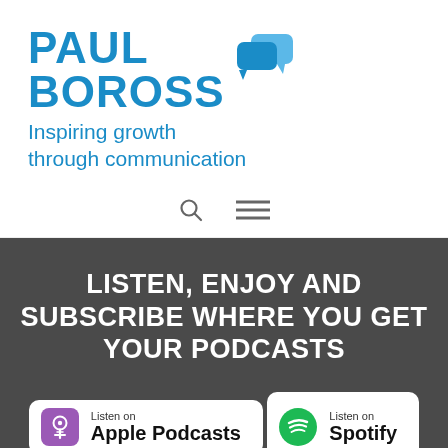[Figure (logo): Paul Boross logo with speech bubble icons and tagline 'Inspiring growth through communication']
[Figure (other): Navigation bar with search icon and hamburger menu icon]
LISTEN, ENJOY AND SUBSCRIBE WHERE YOU GET YOUR PODCASTS
[Figure (other): Listen on Apple Podcasts badge button]
[Figure (other): Listen on Spotify badge button (partially visible)]